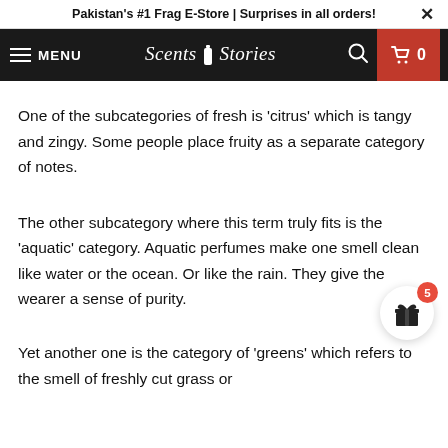Pakistan's #1 Frag E-Store | Surprises in all orders! ✕
MENU  Scents & Stories  🔍  🛒 0
One of the subcategories of fresh is 'citrus' which is tangy and zingy. Some people place fruity as a separate category of notes.
The other subcategory where this term truly fits is the 'aquatic' category. Aquatic perfumes make one smell clean like water or the ocean. Or like the rain. They give the wearer a sense of purity.
Yet another one is the category of 'greens' which refers to the smell of freshly cut grass or